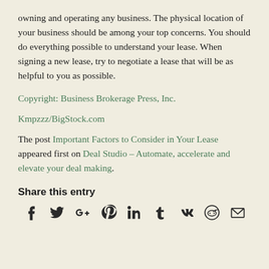owning and operating any business. The physical location of your business should be among your top concerns. You should do everything possible to understand your lease. When signing a new lease, try to negotiate a lease that will be as helpful to you as possible.
Copyright: Business Brokerage Press, Inc.
Kmpzzz/BigStock.com
The post Important Factors to Consider in Your Lease appeared first on Deal Studio – Automate, accelerate and elevate your deal making.
Share this entry